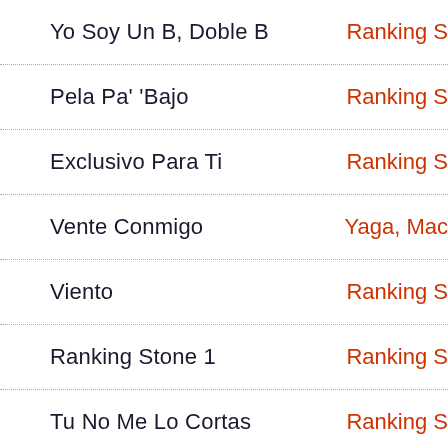Yo Soy Un B, Doble B — Ranking S
Pela Pa' 'Bajo — Ranking S
Exclusivo Para Ti — Ranking S
Vente Conmigo — Yaga, Mac
Viento — Ranking S
Ranking Stone 1 — Ranking S
Tu No Me Lo Cortas — Ranking S